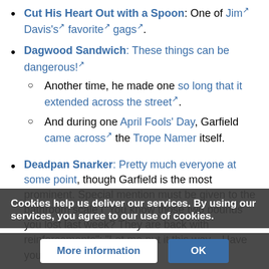Cut His Heart Out with a Spoon: One of Jim Davis's favorite gags.
Dagwood Sandwich: These things can be dangerous! Another time, he made one so long that it extended across the street. And during one April Fools' Day, Garfield came across the Trope Namer itself.
Deadpan Snarker: Pretty much everyone at some point, though Garfield is the most prominent. Special mention must be given to the bathroom scale ("You know those two pounds you lost last week? They are back with reinforcements"; "Let me put it this way... Have you ever
Deconstruction: Of Zipperific, bizarrely enough. Jon wears a suit with no inside or tailored pockets,
Cookies help us deliver our services. By using our services, you agree to our use of cookies.
More information | OK